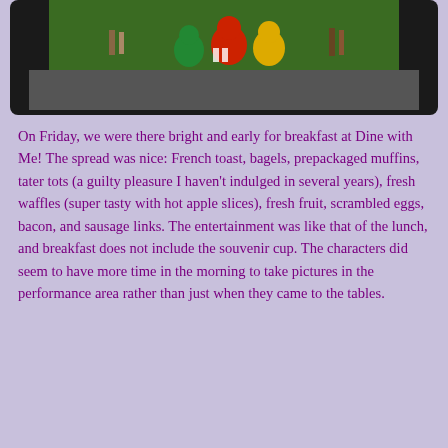[Figure (photo): A screenshot of a video showing costumed characters performing or parading, with people in the background, displayed in a dark-bordered video player frame.]
On Friday, we were there bright and early for breakfast at Dine with Me! The spread was nice: French toast, bagels, prepackaged muffins, tater tots (a guilty pleasure I haven't indulged in several years), fresh waffles (super tasty with hot apple slices), fresh fruit, scrambled eggs, bacon, and sausage links. The entertainment was like that of the lunch, and breakfast does not include the souvenir cup. The characters did seem to have more time in the morning to take pictures in the performance area rather than just when they came to the tables.